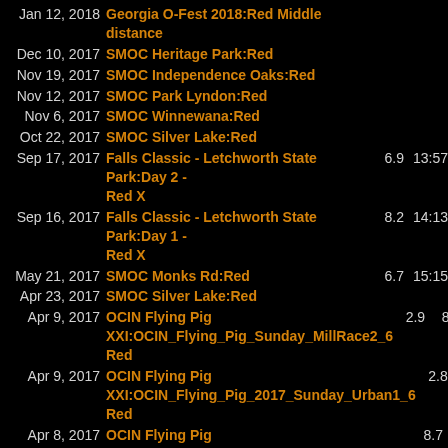Jan 12, 2018 | Georgia O-Fest 2018:Red Middle distance
Dec 10, 2017 | SMOC Heritage Park:Red
Nov 19, 2017 | SMOC Independence Oaks:Red
Nov 12, 2017 | SMOC Park Lyndon:Red
Nov 6, 2017 | SMOC Winnewana:Red
Oct 22, 2017 | SMOC Silver Lake:Red
Sep 17, 2017 | Falls Classic - Letchworth State Park:Day 2 - Red X | 6.9 | 13:57
Sep 16, 2017 | Falls Classic - Letchworth State Park:Day 1 - Red X | 8.2 | 14:13
May 21, 2017 | SMOC Monks Rd:Red | 6.7 | 15:15
Apr 23, 2017 | SMOC Silver Lake:Red
Apr 9, 2017 | OCIN Flying Pig XXI:OCIN_Flying_Pig_Sunday_MillRace2_6 Red | 2.9 | 8:41
Apr 9, 2017 | OCIN Flying Pig XXI:OCIN_Flying_Pig_2017_Sunday_Urban1_6 Red | 2.8 | 8:10
Apr 8, 2017 | OCIN Flying Pig XXI:OCIN_Flying_Pig_2017_Saturday_Long_6 Red | 8.7 | 16:59
Apr 7, 2017 | OCIN Flying Pig XXI:OCIN_Flying_Pig_2017_6 | 8.2 | 11:56